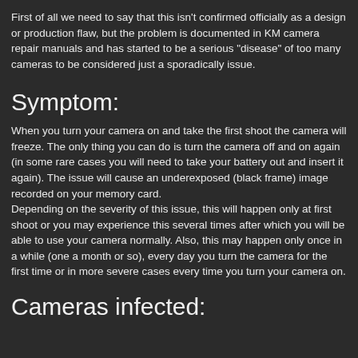First of all we need to say that this isn't confirmed officially as a design or production flaw, but the problem is documented in KM camera repair manuals and has started to be a serious "disease" of too many cameras to be considered just a sporadically issue.
Symptom:
When you turn your camera on and take the first shoot the camera will freeze. The only thing you can do is turn the camera off and on again (in some rare cases you will need to take your battery out and insert it again). The issue will cause an underexposed (black frame) image recorded on your memory card.
Depending on the severity of this issue, this will happen only at first shoot or you may experience this several times after which you will be able to use your camera normally. Also, this may happen only once in a while (one a month or so), every day you turn the camera for the first time or in more severe cases every time you turn your camera on.
Cameras infected: